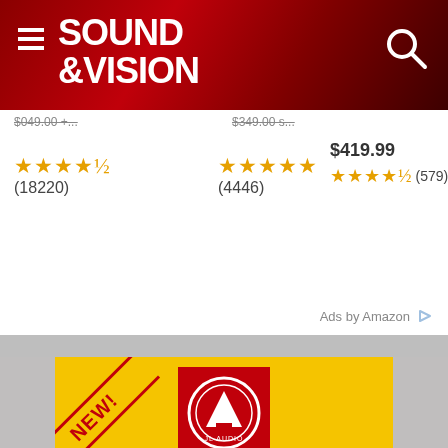SOUND & VISION
$419.99
★★★★½ (18220)
★★★★★ (4446)
★★★★½ (579)
Ads by Amazon
[Figure (advertisement): JL Audio FATHOM IWS In-Wall Subwoofer Systems advertisement. Yellow background with NEW! diagonal badge, JL Audio circular logo on red background, FATHOM IWS branding in red with IWS on red pill, text 'Introducing... All-New 8-inch Models', three product photos of amplifier and subwoofer drivers, Learn More button.]